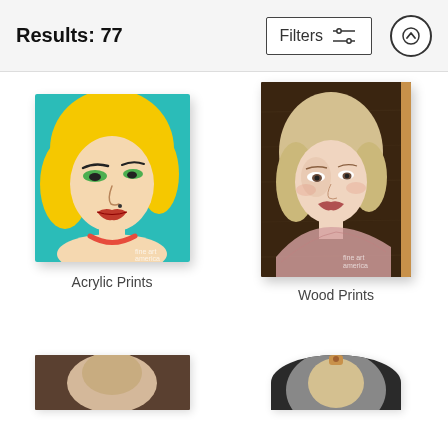Results: 77
Filters
[Figure (screenshot): Screenshot of an e-commerce product listing page showing art prints for sale. Header shows 'Results: 77' with a Filters button and up-arrow scroll button. Below are four product thumbnails in a 2x2 grid: top-left is an acrylic print of Marilyn Monroe in pop-art style (teal background, yellow hair), labeled 'Acrylic Prints'; top-right is a wood print of Marilyn Monroe in a soft painterly style, labeled 'Wood Prints'; bottom row shows two more partially visible products.]
Acrylic Prints
Wood Prints